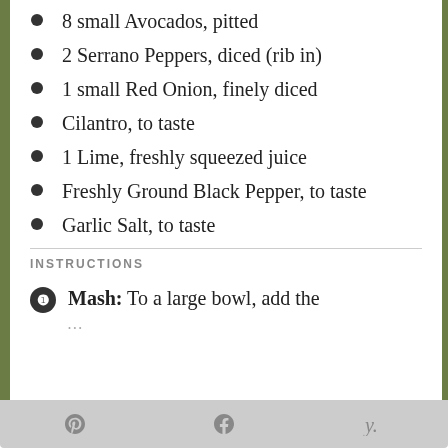8 small Avocados, pitted
2 Serrano Peppers, diced (rib in)
1 small Red Onion, finely diced
Cilantro, to taste
1 Lime, freshly squeezed juice
Freshly Ground Black Pepper, to taste
Garlic Salt, to taste
INSTRUCTIONS
Mash: To a large bowl, add the